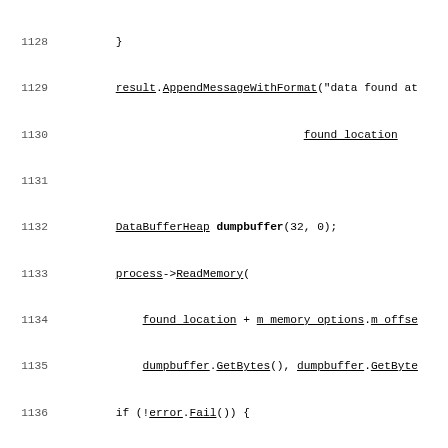Source code listing, lines 1128-1157, C++ code for memory search/dump functionality